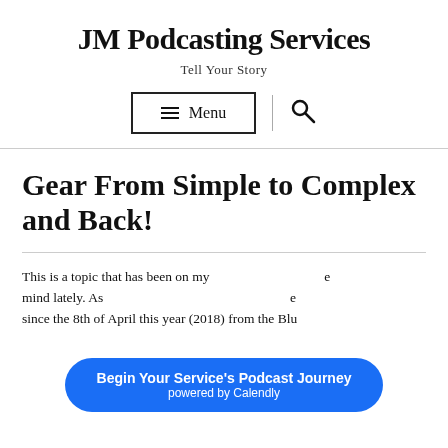JM Podcasting Services
Tell Your Story
[Figure (other): Menu button with hamburger icon and search icon navigation bar]
Gear From Simple to Complex and Back!
This is a topic that has been on my mind lately. As ...e since the 8th of April this year (2018) from the Blu...
Begin Your Service's Podcast Journey powered by Calendly